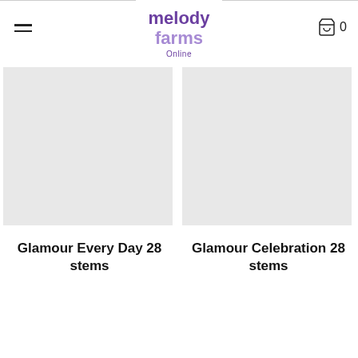melody farms Online
[Figure (photo): Product image placeholder for Glamour Every Day 28 stems (light gray box)]
Glamour Every Day 28 stems
[Figure (photo): Product image placeholder for Glamour Celebration 28 stems (light gray box)]
Glamour Celebration 28 stems